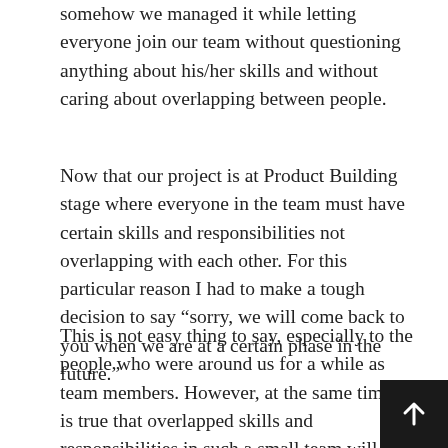somehow we managed it while letting everyone join our team without questioning anything about his/her skills and without caring about overlapping between people.
Now that our project is at Product Building stage where everyone in the team must have certain skills and responsibilities not overlapping with each other. For this particular reason I had to make a tough decision to say “sorry, we will come back to you when we are at a certain phase in the future.”
This is not easy thing to say, especially to the people who were around us for a while as team members. However, at the same time it is true that overlapped skills and responsibilities in such a small team will create unnecessary communication effort and lots of frictions between team members which only you can resolve most of the time.